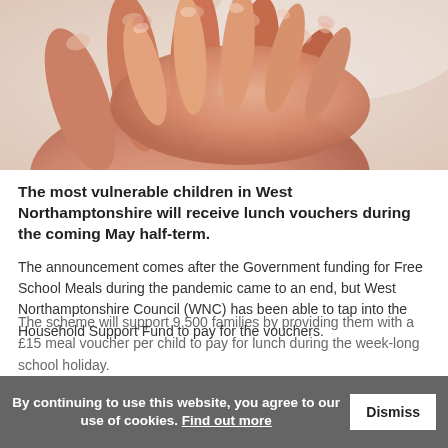[Figure (photo): Close-up photo of two hands — an adult hand and a child's hand — held together against a white/beige background.]
The most vulnerable children in West Northamptonshire will receive lunch vouchers during the coming May half-term.
The announcement comes after the Government funding for Free School Meals during the pandemic came to an end, but West Northamptonshire Council (WNC) has been able to tap into the Household Support Fund to pay for the vouchers.
The scheme will support 9,500 families by providing them with a £15 meal voucher per child to pay for lunch during the week-long school holiday.
By continuing to use this website, you agree to our use of cookies. Find out more  Dismiss